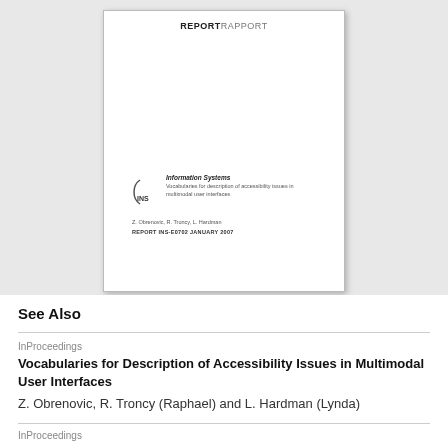[Figure (illustration): Scanned cover page of a report titled 'Information Systems - Vocabularies for description of accessibility issues in multimodal user interfaces' by Z. Obrenovic, R. Troncy, L. Hardman, Report INS-E0702 January 2007, with REPORT RAPPORT header and INS logo.]
See Also
InProceedings
Vocabularies for Description of Accessibility Issues in Multimodal User Interfaces
Z. Obrenovic, R. Troncy (Raphael) and L. Hardman (Lynda)
InProceedings